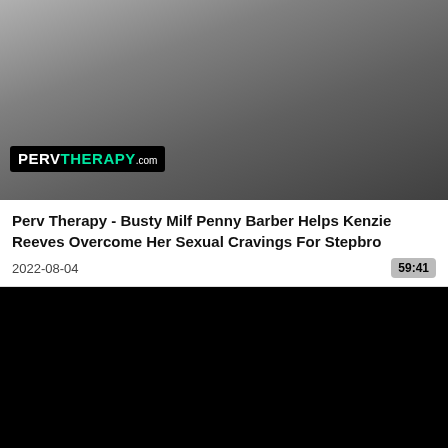[Figure (screenshot): Video thumbnail showing adult content with PERVTHERAPY.com logo overlay]
Perv Therapy - Busty Milf Penny Barber Helps Kenzie Reeves Overcome Her Sexual Cravings For Stepbro
2022-08-04
59:41
[Figure (screenshot): Black video player area]